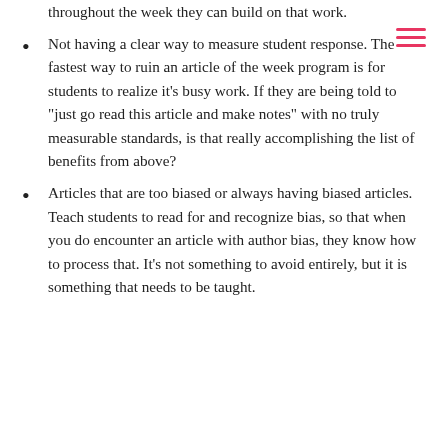throughout the week they can build on that work.
Not having a clear way to measure student response. The fastest way to ruin an article of the week program is for students to realize it’s busy work. If they are being told to “just go read this article and make notes” with no truly measurable standards, is that really accomplishing the list of benefits from above?
Articles that are too biased or always having biased articles. Teach students to read for and recognize bias, so that when you do encounter an article with author bias, they know how to process that. It’s not something to avoid entirely, but it is something that needs to be taught.